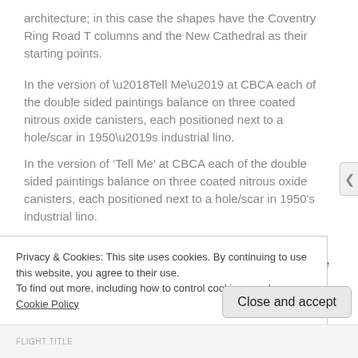architecture; in this case the shapes have the Coventry Ring Road T columns and the New Cathedral as their starting points.
In the version of ‘Tell Me’ at CBCA each of the double sided paintings balance on three coated nitrous oxide canisters, each positioned next to a hole/scar in 1950’s industrial lino.
The terms “acquiesce” and “dissent’ were repeatedly used in your drafted plans for the installation and live curation – forming the way in
Privacy & Cookies: This site uses cookies. By continuing to use this website, you agree to their use.
To find out more, including how to control cookies, see here: Cookie Policy
Close and accept
FLIGHT TITLE